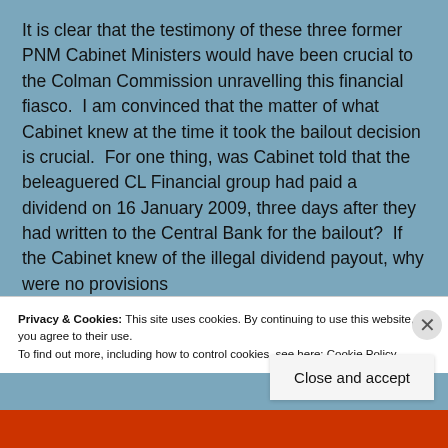It is clear that the testimony of these three former PNM Cabinet Ministers would have been crucial to the Colman Commission unravelling this financial fiasco.  I am convinced that the matter of what Cabinet knew at the time it took the bailout decision is crucial.  For one thing, was Cabinet told that the beleaguered CL Financial group had paid a dividend on 16 January 2009, three days after they had written to the Central Bank for the bailout?  If the Cabinet knew of the illegal dividend payout, why were no provisions
Privacy & Cookies: This site uses cookies. By continuing to use this website, you agree to their use.
To find out more, including how to control cookies, see here: Cookie Policy
Close and accept